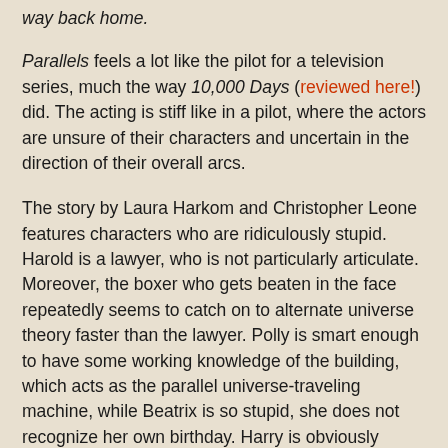way back home.
Parallels feels a lot like the pilot for a television series, much the way 10,000 Days (reviewed here!) did. The acting is stiff like in a pilot, where the actors are unsure of their characters and uncertain in the direction of their overall arcs.
The story by Laura Harkom and Christopher Leone features characters who are ridiculously stupid. Harold is a lawyer, who is not particularly articulate. Moreover, the boxer who gets beaten in the face repeatedly seems to catch on to alternate universe theory faster than the lawyer. Polly is smart enough to have some working knowledge of the building, which acts as the parallel universe-traveling machine, while Beatrix is so stupid, she does not recognize her own birthday. Harry is obviously infatuated with Beatrix and uses her name and birthdate as his password, but Bea doesn't recognize the numbers after her name.
The result is a very average film with substandard players and an unfortunately generic villain. Tinker inexplicably follows the quartet into the building (despite being about to set off a nuclear bomb) and in the face of a new universe h...